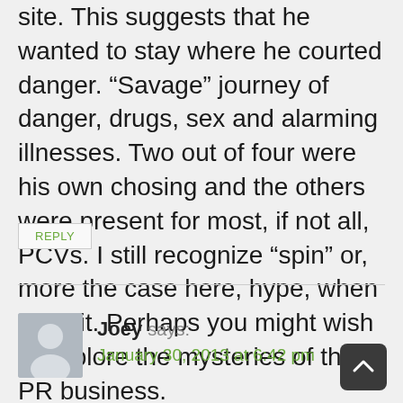site. This suggests that he wanted to stay where he courted danger. “Savage” journey of danger, drugs, sex and alarming illnesses. Two out of four were his own chosing and the others were present for most, if not all, PCVs. I still recognize “spin” or, more the case here, hype, when I see it. Perhaps you might wish to explore the mysteries of the PR business.
REPLY
Joey says:
January 30, 2013 at 6:42 pm